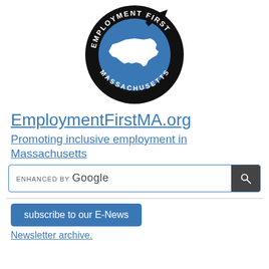[Figure (logo): Employment First Massachusetts circular logo with black border, blue circle, white Massachusetts state silhouette, and text 'EMPLOYMENT FIRST' and 'MASSACHUSETTS' around the border with an arrow]
EmploymentFirstMA.org
Promoting inclusive employment in Massachusetts
[Figure (screenshot): Google enhanced search bar with search button]
subscribe to our E-News
Newsletter archive.